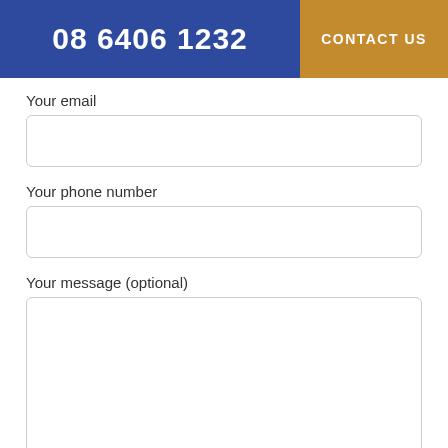08 6406 1232
CONTACT US
Your email
Your phone number
Your message (optional)
Just checking your human 🙂